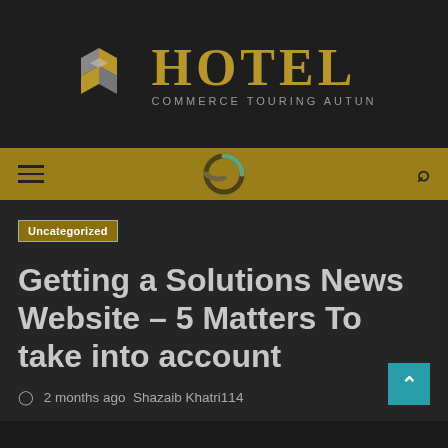[Figure (logo): Hotel Commerce Touring Autun logo with geometric cubic icon in gold and grey, and HOTEL text in gold with COMMERCE TOURING AUTUN subtitle in grey]
≡   🔍
Uncategorized
Getting a Solutions News Website – 5 Matters To take into account
🕐  2 months ago  Shazaib Khatri114